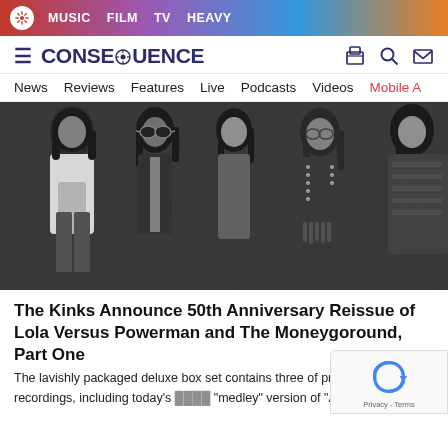CONSEQUENCE — MUSIC | FILM | TV | HEAVY
[Figure (logo): Consequence of Sound website header with logo, navigation icons, and nav bar]
[Figure (photo): Black and white photograph of The Kinks band members, five people with long hair in 1970s rock style clothing]
The Kinks Announce 50th Anniversary Reissue of Lola Versus Powerman and The Moneygoround, Part One
The lavishly packaged deluxe box set contains three of previously unheard recordings, including today's "medley" version of "Any Time".